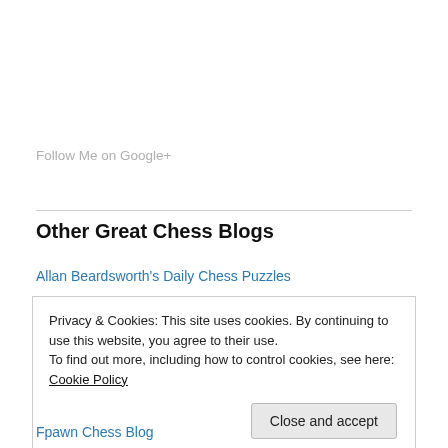Follow Me on Google+
Other Great Chess Blogs
Allan Beardsworth's Daily Chess Puzzles
Privacy & Cookies: This site uses cookies. By continuing to use this website, you agree to their use.
To find out more, including how to control cookies, see here: Cookie Policy
Close and accept
Fpawn Chess Blog